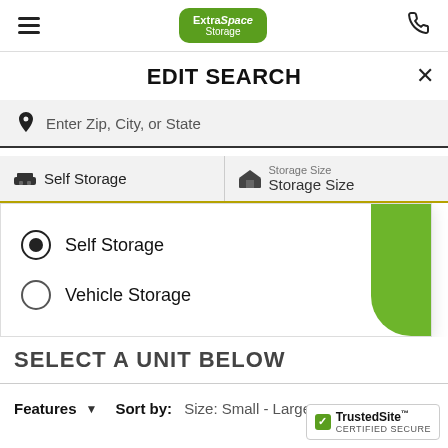[Figure (screenshot): Extra Space Storage mobile website screenshot showing Edit Search overlay with Self Storage / Vehicle Storage radio options, search bar, and filter controls]
Extra Space Storage navigation bar with hamburger menu and phone icon
EDIT SEARCH
Enter Zip, City, or State
Self Storage | Storage Size / Storage Size
Self Storage (selected)
Vehicle Storage
SELECT A UNIT BELOW
Features  Sort by: Size: Small - Large
[Figure (logo): TrustedSite Certified Secure badge]